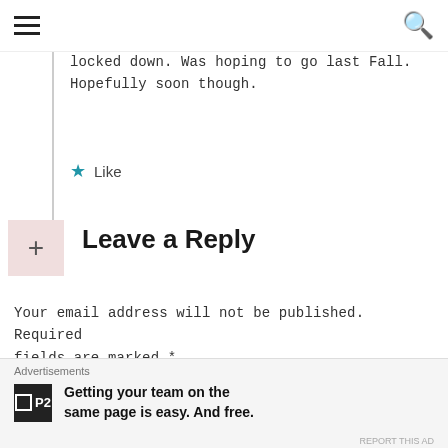☰ [menu] [search]
locked down. Was hoping to go last Fall. Hopefully soon though.
★ Like
Leave a Reply
Your email address will not be published. Required fields are marked *
[Figure (screenshot): Empty text input box for reply comment]
Advertisements
P2 — Getting your team on the same page is easy. And free.